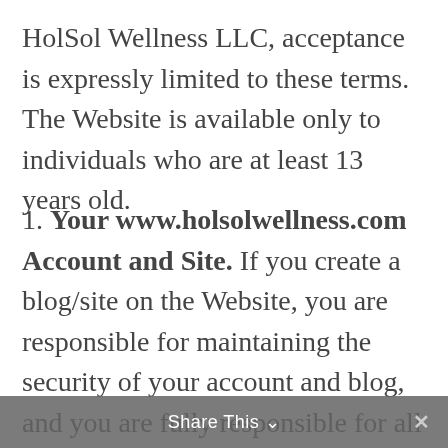HolSol Wellness LLC, acceptance is expressly limited to these terms. The Website is available only to individuals who are at least 13 years old.
1. Your www.holsolwellness.com Account and Site. If you create a blog/site on the Website, you are responsible for maintaining the security of your account and blog, and you are fully responsible for all activities that occur under the account and any other actions taken in connection with the blog. You must not describe or assign keywords to your blog in a
Share This ∨  ✕